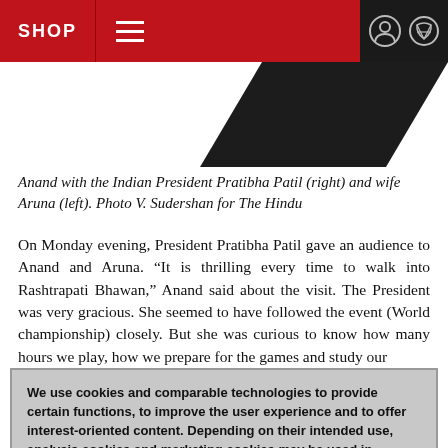SHOP
[Figure (photo): Diagonal black geometric shape on white background, partial view of an image]
Anand with the Indian President Pratibha Patil (right) and wife Aruna (left). Photo V. Sudershan for The Hindu
On Monday evening, President Pratibha Patil gave an audience to Anand and Aruna. “It is thrilling every time to walk into Rashtrapati Bhawan,” Anand said about the visit. The President was very gracious. She seemed to have followed the event (World championship) closely. But she was curious to know how many hours we play, how we prepare for the games and study our
We use cookies and comparable technologies to provide certain functions, to improve the user experience and to offer interest-oriented content. Depending on their intended use, analysis cookies and marketing cookies may be used in addition to technically required cookies. Here you can make detailed settings or revoke your consent (if necessary partially) with effect for the future. Further information can be found in our data protection declaration.